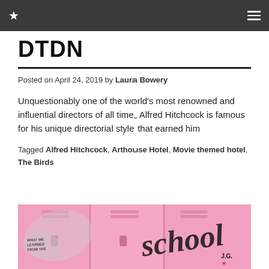★  ≡
DTDN
Posted on April 24, 2019 by Laura Bowery
Unquestionably one of the world's most renowned and influential directors of all time, Alfred Hitchcock is famous for his unique directorial style that earned him
Tagged Alfred Hitchcock, Arthouse Hotel, Movie themed hotel, The Birds
[Figure (illustration): Pink school lockers background with decorative script text reading 'school' and a note reading 'WHAT WE LEARNED FROM THE...' with an author initial J.G.]